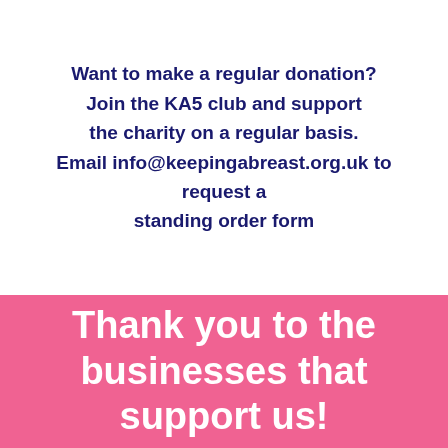Want to make a regular donation? Join the KA5 club and support the charity on a regular basis. Email info@keepingabreast.org.uk to request a standing order form
Thank you to the businesses that support us!